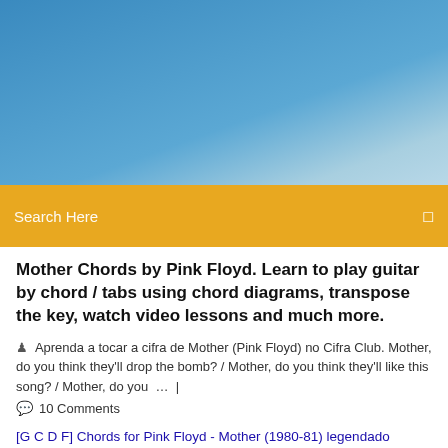[Figure (photo): Blue sky background image used as website header]
Search Here
Mother Chords by Pink Floyd. Learn to play guitar by chord / tabs using chord diagrams, transpose the key, watch video lessons and much more.
Aprenda a tocar a cifra de Mother (Pink Floyd) no Cifra Club. Mother, do you think they'll drop the bomb? / Mother, do you think they'll like this song? / Mother, do you …  |
10 Comments
[G C D F] Chords for Pink Floyd - Mother (1980-81) legendado